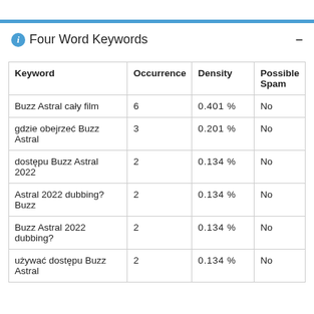Four Word Keywords
| Keyword | Occurrence | Density | Possible Spam |
| --- | --- | --- | --- |
| Buzz Astral cały film | 6 | 0.401 % | No |
| gdzie obejrzeć Buzz Astral | 3 | 0.201 % | No |
| dostępu Buzz Astral 2022 | 2 | 0.134 % | No |
| Astral 2022 dubbing? Buzz | 2 | 0.134 % | No |
| Buzz Astral 2022 dubbing? | 2 | 0.134 % | No |
| używać dostępu Buzz Astral | 2 | 0.134 % | No |